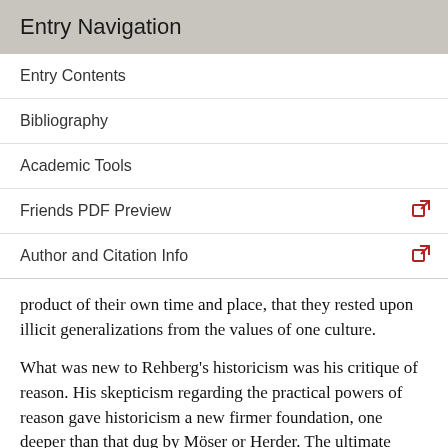Entry Navigation
Entry Contents
Bibliography
Academic Tools
Friends PDF Preview
Author and Citation Info
product of their own time and place, that they rested upon illicit generalizations from the values of one culture.
What was new to Rehberg's historicism was his critique of reason. His skepticism regarding the practical powers of reason gave historicism a new firmer foundation, one deeper than that dug by Möser or Herder. The ultimate upshot of his skepticism, as we have seen, is that there is a gap between theory and practice, between reason and conduct, in the realms of morality and politics. Since reason cannot lay down specific maxims for moral